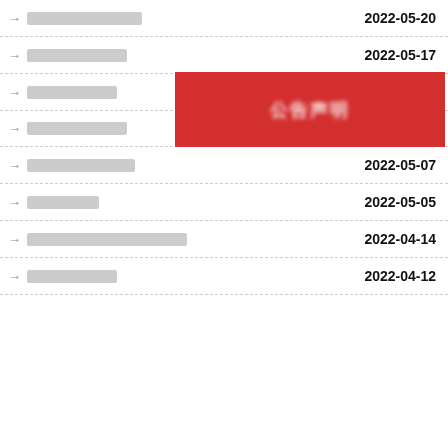→ ░░░░░░░░░░░░░░░ 2022-05-20
→ ░░░░░░░░░░░░░ 2022-05-17
→ ░░░░░░░░░░░░ 2022-05-14
→ ░░░░░░░░░░░░░ 2022-05-10
→ ░░░░░░░░░░░░░░ 2022-05-07
→ ░░░░░░░░░ 2022-05-05
→ ░░░░░░░░░░░░░░░░░░░░? 2022-04-14
→ ░░░░░░░░░░░░ 2022-04-12
[Figure (other): Red banner overlay with blurred Chinese text (公告声明 or similar), redacting part of the list entries for rows 3 and 4]